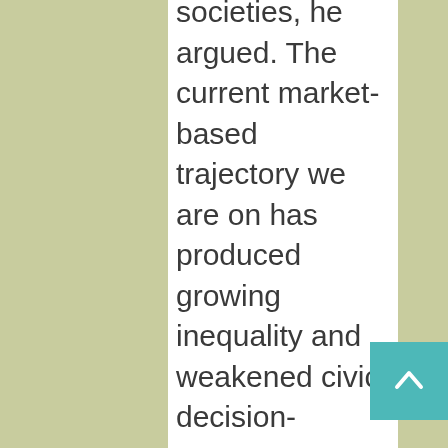societies, he argued. The current market-based trajectory we are on has produced growing inequality and weakened civic decision-making. We need a new 'recipe for radicalism'; a 'massive campaign' that reclaims the 'public' as a resource, that legitimises civic infrastructure, and helps restore trust and cohesion. We need to practise the skills of democracy, MacLeod argued, and we need neutral, civic spaces in which civic decision-making can occur. Democracies, therefore, need libraries. Libraries provide a civic commons to complement the digital commons; but they need to